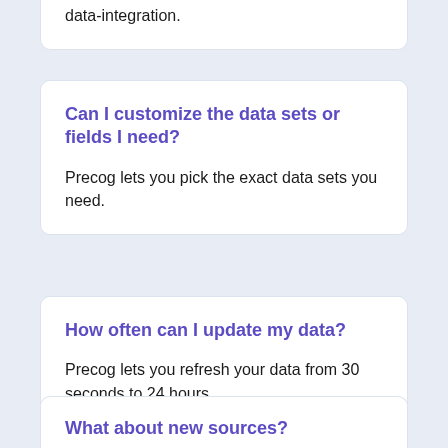data-integration.
Can I customize the data sets or fields I need?
Precog lets you pick the exact data sets you need.
How often can I update my data?
Precog lets you refresh your data from 30 seconds to 24 hours.
What about new sources?